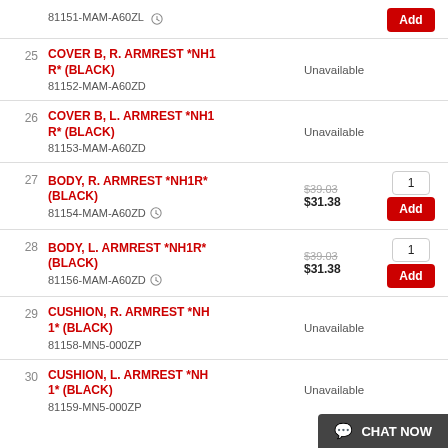81151-MAM-A60ZL (clock) | Add button
25 | COVER B, R. ARMREST *NH1 R* (BLACK) | 81152-MAM-A60ZD | Unavailable
26 | COVER B, L. ARMREST *NH1 R* (BLACK) | 81153-MAM-A60ZD | Unavailable
27 | BODY, R. ARMREST *NH1R* (BLACK) | 81154-MAM-A60ZD (clock) | $39.03 crossed out | $31.38 | 1 | Add
28 | BODY, L. ARMREST *NH1R* (BLACK) | 81156-MAM-A60ZD (clock) | $39.03 crossed out | $31.38 | 1 | Add
29 | CUSHION, R. ARMREST *NH 1* (BLACK) | 81158-MN5-000ZP | Unavailable
30 | CUSHION, L. ARMREST *NH 1* (BLACK) | 81159-MN5-000ZP | Unavailable
CHAT NOW